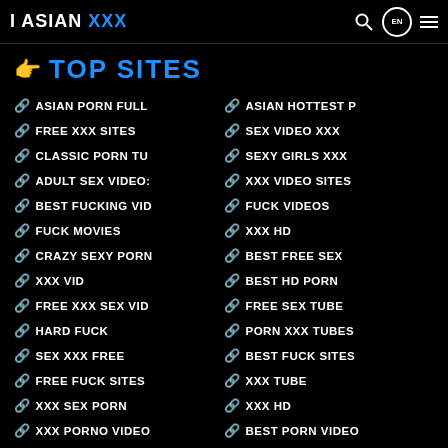I ASIAN XXX
👉 TOP SITES
ASIAN PORN FULL
ASIAN HOTTEST P
FREE XXX SITES
SEX VIDEO XXX
CLASSIC PORN TU
SEXY GIRLS XXX
ADULT SEX VIDEO:
XXX VIDEO SITES
BEST FUCKING VID
FUCK VIDEOS
FUCK MOVIES
XXX HD
CRAZY SEXY PORN
BEST FREE SEX
XXX VID
BEST HD PORN
FREE XXX SEX VID
FREE SEX TUBE
HARD FUCK
PORN XXX TUBES
SEX XXX FREE
BEST FUCK SITES
FREE FUCK SITES
XXX TUBE
XXX SEX PORN
XXX HD
XXX PORNO VIDEO
BEST PORN VIDEO
XXX FUCK VIDEO
FUCK FREE